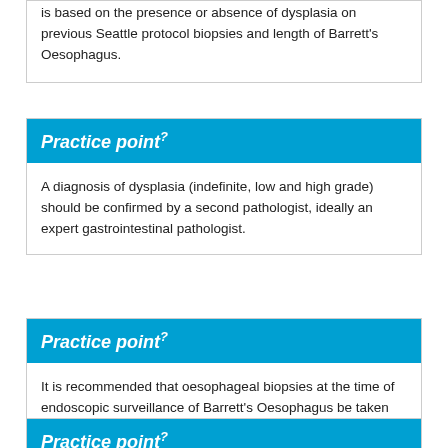is based on the presence or absence of dysplasia on previous Seattle protocol biopsies and length of Barrett's Oesophagus.
Practice point?
A diagnosis of dysplasia (indefinite, low and high grade) should be confirmed by a second pathologist, ideally an expert gastrointestinal pathologist.
Practice point?
It is recommended that oesophageal biopsies at the time of endoscopic surveillance of Barrett's Oesophagus be taken according to the Seattle protocol.